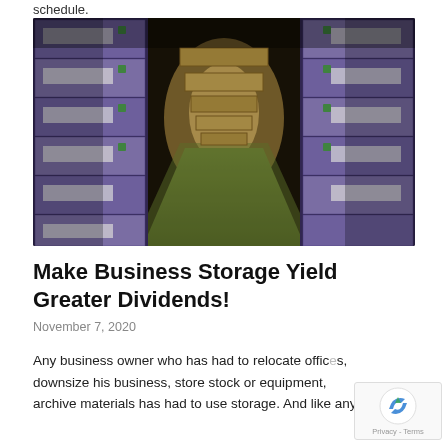schedule.
[Figure (photo): A long narrow aisle between tall stacks of labeled cardboard archive boxes on both sides, with a green floor and warm lighting in the background.]
Make Business Storage Yield Greater Dividends!
November 7, 2020
Any business owner who has had to relocate offices, downsize his business, store stock or equipment, or archive materials has had to use storage. And like any